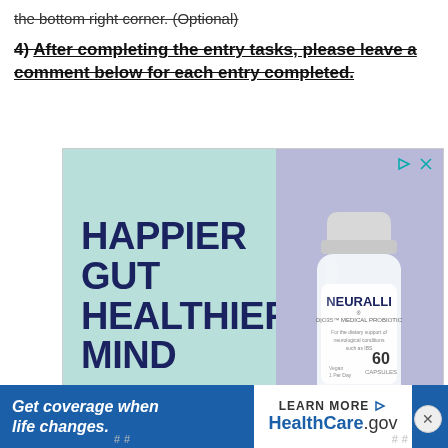the bottom right corner. (Optional)
4) After completing the entry tasks, please leave a comment below for each entry completed.
[Figure (photo): Advertisement for Bened Life's Neuralli medical probiotic supplement, showing a pill bottle on a purple background next to text reading 'HAPPIER GUT HEALTHIER MIND' and 'Bened Life' on a teal background. Small ad icons in top right corner.]
[Figure (screenshot): Bottom banner advertisement: 'Get coverage when life changes.' with LEARN MORE button and HealthCare.gov branding on white, on blue background. Close X button on right.]